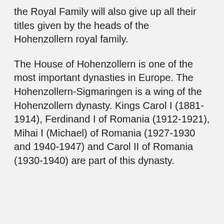the Royal Family will also give up all their titles given by the heads of the Hohenzollern royal family.
The House of Hohenzollern is one of the most important dynasties in Europe. The Hohenzollern-Sigmaringen is a wing of the Hohenzollern dynasty. Kings Carol I (1881-1914), Ferdinand I of Romania (1912-1921), Mihai I (Michael) of Romania (1927-1930 and 1940-1947) and Carol II of Romania (1930-1940) are part of this dynasty.